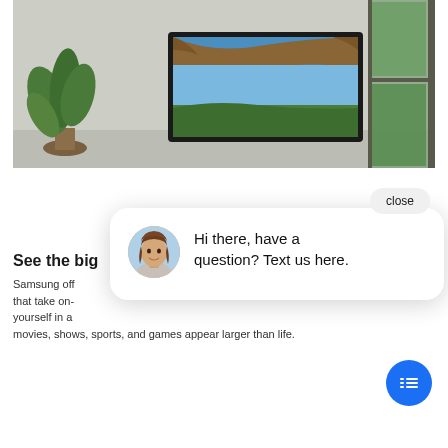[Figure (photo): A Samsung TV mounted on a light gray wall in a modern living room. A green plant is visible on the left, and a window with outdoor greenery is visible on the right. The TV displays a nature scene (rocky arch and sky).]
[Figure (screenshot): A chat widget popup overlaid on the page. It shows a circular avatar of a woman with brown hair, and the text 'Hi there, have a question? Text us here.' There is a 'close' button in the top right, and a blue circular chat FAB button in the bottom right.]
See the big...
Samsung off... that take on-... yourself in a... movies, shows, sports, and games appear larger than life.